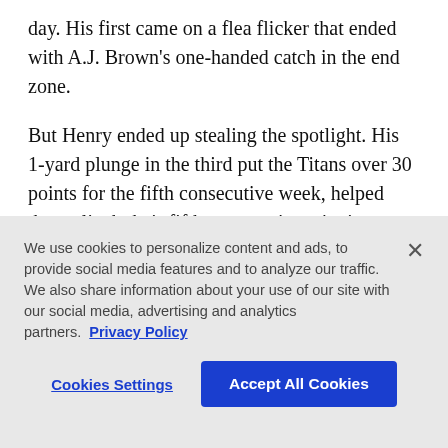day. His first came on a flea flicker that ended with A.J. Brown's one-handed catch in the end zone.
But Henry ended up stealing the spotlight. His 1-yard plunge in the third put the Titans over 30 points for the fifth consecutive week, helped them clinch their fifth consecutive winning season and move a step closer to securing a playoff berth.
“We realize what Derrick brings to the table each and every game,” Tannehill said. “He plays hard. He plays
We use cookies to personalize content and ads, to provide social media features and to analyze our traffic. We also share information about your use of our site with our social media, advertising and analytics partners. Privacy Policy
Cookies Settings
Accept All Cookies